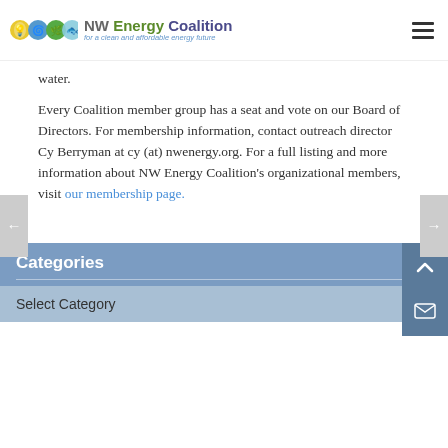NW Energy Coalition — for a clean and affordable energy future
water.
Every Coalition member group has a seat and vote on our Board of Directors. For membership information, contact outreach director Cy Berryman at cy (at) nwenergy.org. For a full listing and more information about NW Energy Coalition's organizational members, visit our membership page.
Categories
Select Category